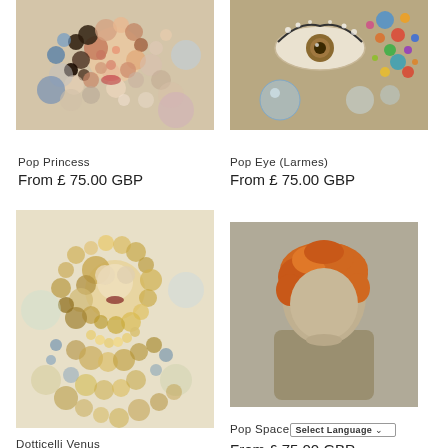[Figure (illustration): Pop Princess artwork - mosaic/dotted portrait of a face made of colorful circles, beige background]
[Figure (illustration): Pop Eye (Larmes) artwork - abstract eye with colorful circles on tan background]
Pop Princess
From £ 75.00 GBP
Pop Eye (Larmes)
From £ 75.00 GBP
[Figure (illustration): Dotticelli Venus artwork - mosaic/dotted portrait of Venus figure with gold and yellow circles]
[Figure (illustration): Pop Spaceboy artwork - flat minimalist portrait with orange hair and no face features, gray/taupe tones]
Dotticelli Venus
From £ 75.00 GBP
Pop Spaceboy
From £ 75.00 GBP